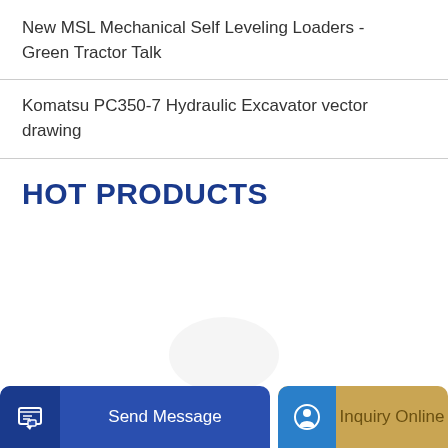New MSL Mechanical Self Leveling Loaders - Green Tractor Talk
Komatsu PC350-7 Hydraulic Excavator vector drawing
HOT PRODUCTS
Send Message | Inquiry Online